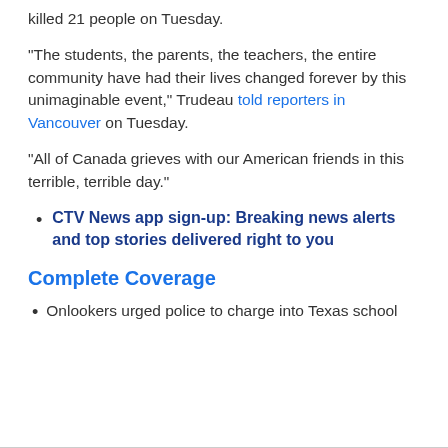killed 21 people on Tuesday.
"The students, the parents, the teachers, the entire community have had their lives changed forever by this unimaginable event," Trudeau told reporters in Vancouver on Tuesday.
"All of Canada grieves with our American friends in this terrible, terrible day."
CTV News app sign-up: Breaking news alerts and top stories delivered right to you
Complete Coverage
Onlookers urged police to charge into Texas school